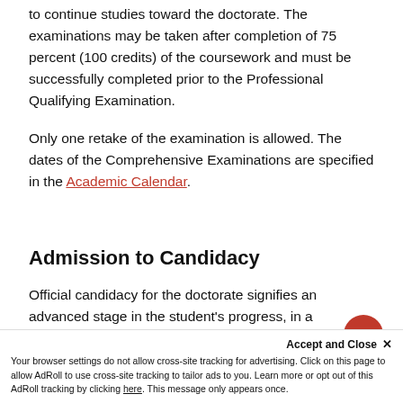to continue studies toward the doctorate. The examinations may be taken after completion of 75 percent (100 credits) of the coursework and must be successfully completed prior to the Professional Qualifying Examination.
Only one retake of the examination is allowed. The dates of the Comprehensive Examinations are specified in the Academic Calendar.
Admission to Candidacy
Official candidacy for the doctorate signifies an advanced stage in the student's progress, in a...
Accept and Close ✕ Your browser settings do not allow cross-site tracking for advertising. Click on this page to allow AdRoll to use cross-site tracking to tailor ads to you. Learn more or opt out of this AdRoll tracking by clicking here. This message only appears once.